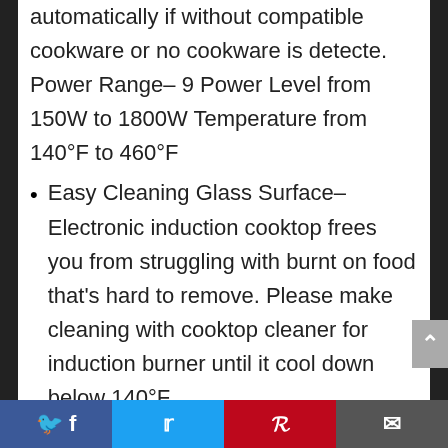automatically if without compatible cookware or no cookware is detecte. Power Range– 9 Power Level from 150W to 1800W Temperature from 140°F to 460°F
Easy Cleaning Glass Surface– Electronic induction cooktop frees you from struggling with burnt on food that's hard to remove. Please make cleaning with cooktop cleaner for induction burner until it cool down below 140°F
100% Satisfaction Guarantee – We take full responsibility for ETL approved induction cooktop quality
Facebook | Twitter | Pinterest | Email